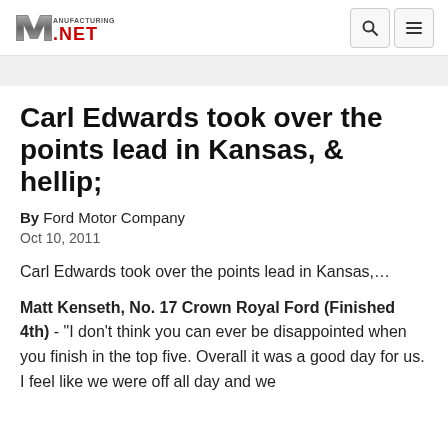Manufacturing.net
Carl Edwards took over the points lead in Kansas, & hellip;
By Ford Motor Company
Oct 10, 2011
Carl Edwards took over the points lead in Kansas,…
Matt Kenseth, No. 17 Crown Royal Ford (Finished 4th) - "I don't think you can ever be disappointed when you finish in the top five. Overall it was a good day for us. I feel like we were off all day and we